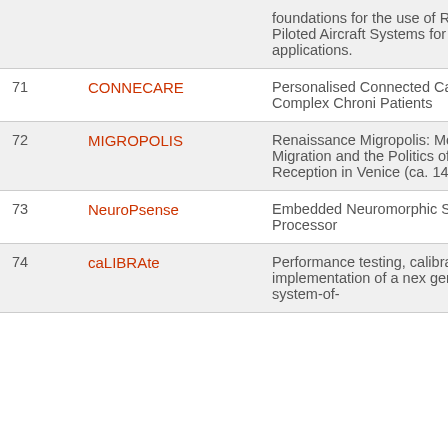| # | Project | Description |
| --- | --- | --- |
|  |  | foundations for the use of Remotely-Piloted Aircraft Systems for civilian applications. |
| 71 | CONNECARE | Personalised Connected Care for Complex Chronic Patients |
| 72 | MIGROPOLIS | Renaissance Migropolis: Mobility, Migration and the Politics of Reception in Venice (ca. 1450-1650 |
| 73 | NeuroPsense | Embedded Neuromorphic Sensory Processor |
| 74 | caLIBRAte | Performance testing, calibration and implementation of a next generation system-of- |